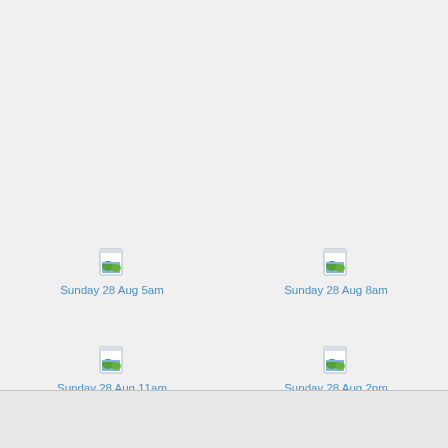[Figure (screenshot): Icon for Sunday 28 Aug 5am — document/image icon with green landscape thumbnail]
Sunday 28 Aug 5am
[Figure (screenshot): Icon for Sunday 28 Aug 8am — document/image icon with green landscape thumbnail]
Sunday 28 Aug 8am
[Figure (screenshot): Icon for Sunday 28 Aug 11am — document/image icon with green landscape thumbnail]
Sunday 28 Aug 11am
[Figure (screenshot): Icon for Sunday 28 Aug 2pm — document/image icon with green landscape thumbnail]
Sunday 28 Aug 2pm